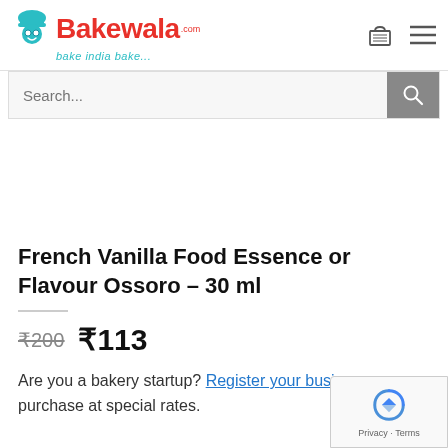[Figure (logo): Bakewala.com logo with chef icon, red text 'Bakewala' and teal tagline 'bake india bake...' along with cart and menu icons]
Search...
French Vanilla Food Essence or Flavour Ossoro – 30 ml
₹200  ₹113
Are you a bakery startup? Register your business purchase at special rates.